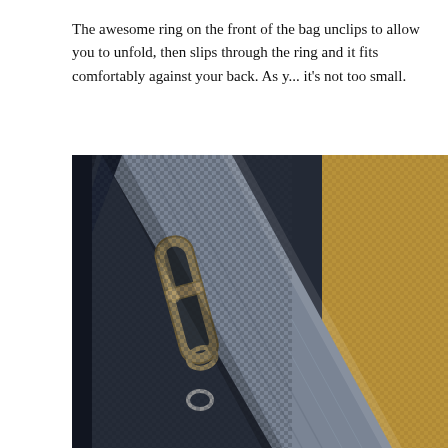The awesome ring on the front of the bag unclips to allow you to unfold, then slips through the ring and it fits comfortably against your back. As y... it's not too small.
[Figure (photo): Close-up photograph of a backpack zipper and strap detail. Shows a metallic carabiner-style clip attached to a gray fabric strap against dark navy/black woven nylon material. The texture of the bag fabric is clearly visible with a diamond weave pattern. To the right side is a golden-tan colored fabric section.]